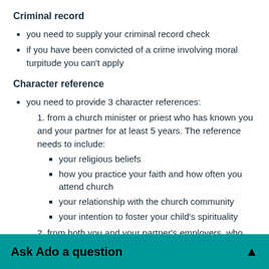Criminal record
you need to supply your criminal record check
if you have been convicted of a crime involving moral turpitude you can't apply
Character reference
you need to provide 3 character references:
1. from a church minister or priest who has known you and your partner for at least 5 years. The reference needs to include:
your religious beliefs
how you practice your faith and how often you attend church
your relationship with the church community
your intention to foster your child's spirituality
2. from both you and your partner's employers, who need to have known you for at least 5 years
3. from a community member who has known you and your
Ask Ado a question